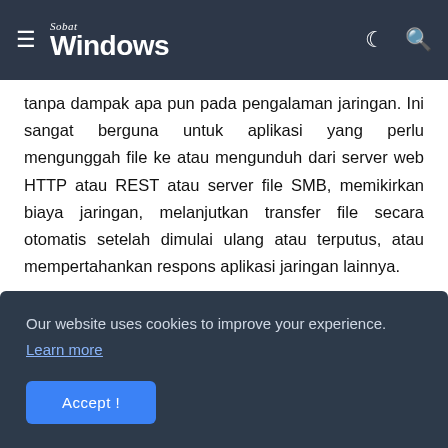Sobat Windows
tanpa dampak apa pun pada pengalaman jaringan. Ini sangat berguna untuk aplikasi yang perlu mengunggah file ke atau mengunduh dari server web HTTP atau REST atau server file SMB, memikirkan biaya jaringan, melanjutkan transfer file secara otomatis setelah dimulai ulang atau terputus, atau mempertahankan respons aplikasi jaringan lainnya.
Sebanyak BITS mungkin merupakan layanan cerdas, kadang-kadang mungkin tidak mulai atau tiba-tiba berhenti bekerja sama sekali. Hasilnya adalah layanan
Our website uses cookies to improve your experience.
Learn more
Accept !